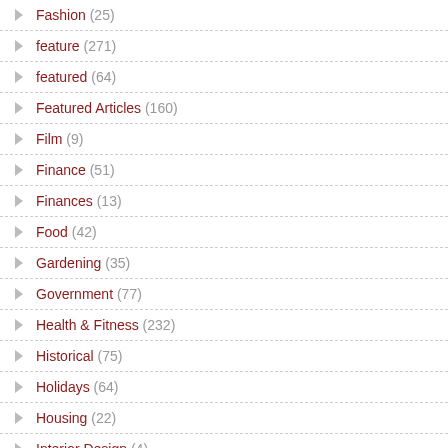Fashion (25)
feature (271)
featured (64)
Featured Articles (160)
Film (9)
Finance (51)
Finances (13)
Food (42)
Gardening (35)
Government (77)
Health & Fitness (232)
Historical (75)
Holidays (64)
Housing (22)
Interior Design (4)
KZTC7 (2)